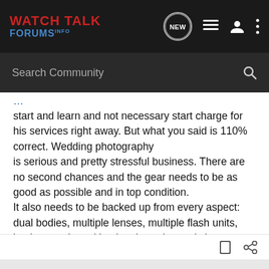WATCH TALK FORUMS INFO
start and learn and not necessary start charge for his services right away. But what you said is 110% correct. Wedding photography is serious and pretty stressful business. There are no second chances and the gear needs to be as good as possible and in top condition.
It also needs to be backed up from every aspect: dual bodies, multiple lenses, multiple flash units, backup cards and backup batteries and chargers..